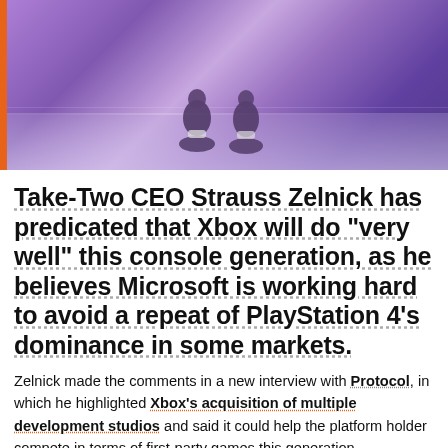[Figure (photo): Two people sitting side by side at the edge of a pool or water feature, viewed from behind, with purple/violet ambient lighting.]
Take-Two CEO Strauss Zelnick has predicated that Xbox will do “very well” this console generation, as he believes Microsoft is working hard to avoid a repeat of PlayStation 4’s dominance in some markets.
Zelnick made the comments in a new interview with Protocol, in which he highlighted Xbox’s acquisition of multiple development studios and said it could help the platform holder compete in terms of first-party games this generation.
ADVERTISEMENT